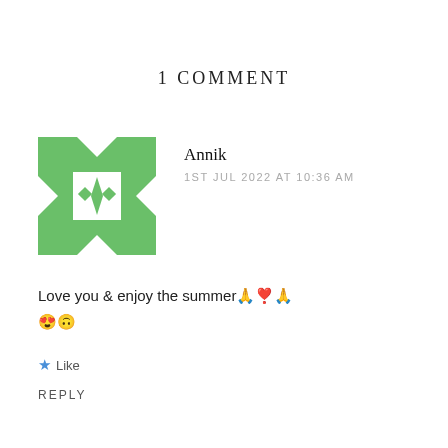1 COMMENT
Annik
1ST JUL 2022 AT 10:36 AM
Love you  & enjoy the summer🙏❣️🙏
😍🙃
★ Like
REPLY